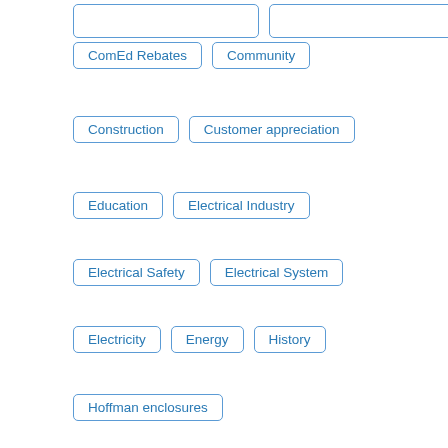ComEd Rebates
Community
Construction
Customer appreciation
Education
Electrical Industry
Electrical Safety
Electrical System
Electricity
Energy
History
Hoffman enclosures
Huntington's Disease Society of America
HVAC
IDEAL Championship
Industrial Supplies
Industry
Lighting
lighting controls
Manufacturing